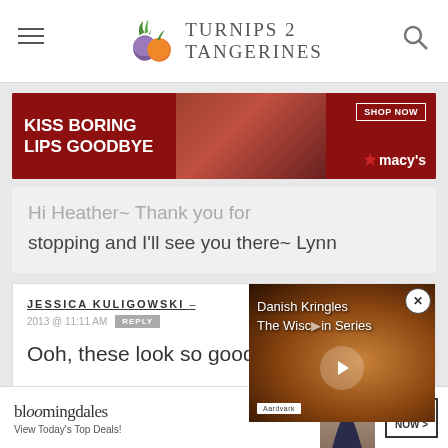TURNIPS 2 TANGERINES
[Figure (screenshot): Macy's advertisement banner: KISS BORING LIPS GOODBYE with SHOP NOW button]
Hi Heather~ Thank you for stopping and I'll see you there~ Lynn
JESSICA KULIGOWSKI – 2013 @ 11:11 AM  REPLY
Ooh, these look so good!
[Figure (screenshot): Video thumbnail: Danish Kringles The Wisconsin Series with play button]
[Figure (screenshot): Bloomingdales advertisement: View Today's Top Deals! SHOP NOW >]